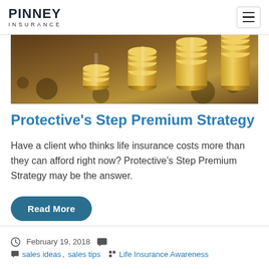PINNEY INSURANCE
[Figure (photo): Stacked gold coins growing in height from left to right against a blurred brown background, suggesting financial growth.]
Protective's Step Premium Strategy
Have a client who thinks life insurance costs more than they can afford right now? Protective's Step Premium Strategy may be the answer.
Read More
February 19, 2018   sales ideas,  sales tips   Life Insurance Awareness